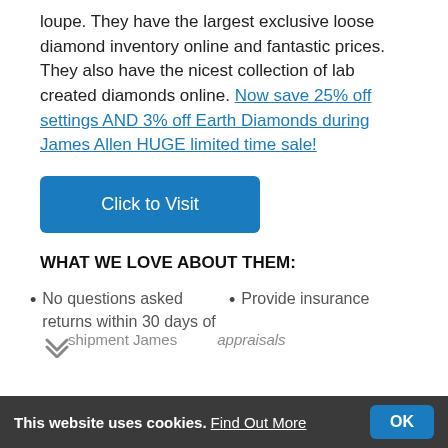loupe. They have the largest exclusive loose diamond inventory online and fantastic prices. They also have the nicest collection of lab created diamonds online. Now save 25% off settings AND 3% off Earth Diamonds during James Allen HUGE limited time sale!
[Figure (other): Blue 'Click to Visit' button]
WHAT WE LOVE ABOUT THEM:
No questions asked returns within 30 days of
Provide insurance appraisals
This website uses cookies. Find Out More  OK